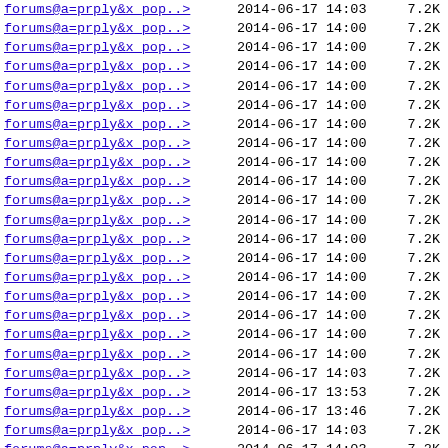| URL | Date | Time | Size |
| --- | --- | --- | --- |
| forums@a=prply&x_pop..> | 2014-06-17 | 14:03 | 7.2K |
| forums@a=prply&x_pop..> | 2014-06-17 | 14:00 | 7.2K |
| forums@a=prply&x_pop..> | 2014-06-17 | 14:00 | 7.2K |
| forums@a=prply&x_pop..> | 2014-06-17 | 14:00 | 7.2K |
| forums@a=prply&x_pop..> | 2014-06-17 | 14:00 | 7.2K |
| forums@a=prply&x_pop..> | 2014-06-17 | 14:00 | 7.2K |
| forums@a=prply&x_pop..> | 2014-06-17 | 14:00 | 7.2K |
| forums@a=prply&x_pop..> | 2014-06-17 | 14:00 | 7.2K |
| forums@a=prply&x_pop..> | 2014-06-17 | 14:00 | 7.2K |
| forums@a=prply&x_pop..> | 2014-06-17 | 14:00 | 7.2K |
| forums@a=prply&x_pop..> | 2014-06-17 | 14:00 | 7.2K |
| forums@a=prply&x_pop..> | 2014-06-17 | 14:00 | 7.2K |
| forums@a=prply&x_pop..> | 2014-06-17 | 14:00 | 7.2K |
| forums@a=prply&x_pop..> | 2014-06-17 | 14:00 | 7.2K |
| forums@a=prply&x_pop..> | 2014-06-17 | 14:00 | 7.2K |
| forums@a=prply&x_pop..> | 2014-06-17 | 14:00 | 7.2K |
| forums@a=prply&x_pop..> | 2014-06-17 | 14:00 | 7.2K |
| forums@a=prply&x_pop..> | 2014-06-17 | 14:00 | 7.2K |
| forums@a=prply&x_pop..> | 2014-06-17 | 14:00 | 7.2K |
| forums@a=prply&x_pop..> | 2014-06-17 | 14:03 | 7.2K |
| forums@a=prply&x_pop..> | 2014-06-17 | 13:53 | 7.2K |
| forums@a=prply&x_pop..> | 2014-06-17 | 13:46 | 7.2K |
| forums@a=prply&x_pop..> | 2014-06-17 | 14:03 | 7.2K |
| forums@a=prply&x_pop..> | 2014-06-17 | 14:03 | 7.2K |
| forums@a=prply&x_pop..> | 2014-06-17 | 14:03 | 7.2K |
| forums@a=prply&x_pop..> | 2014-06-17 | 14:03 | 7.2K |
| forums@a=prply&x_pop..> | 2014-06-17 | 14:03 | 7.2K |
| forums@a=prply&x_pop..> | 2014-06-17 | 14:03 | 7.2K |
| forums@a=prply&x_pop..> | 2014-06-17 | 14:03 | 7.2K |